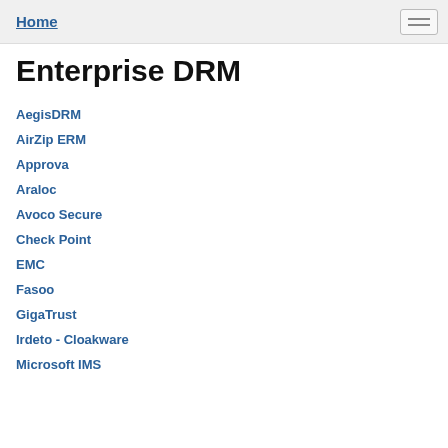Home
Enterprise DRM
AegisDRM
AirZip ERM
Approva
Araloc
Avoco Secure
Check Point
EMC
Fasoo
GigaTrust
Irdeto - Cloakware
Microsoft IMS